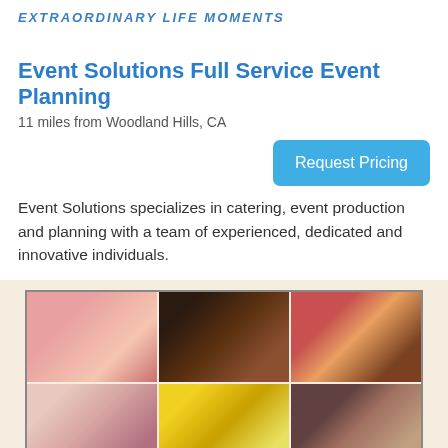EXTRAORDINARY LIFE MOMENTS
Event Solutions Full Service Event Planning
11 miles from Woodland Hills, CA
Request Pricing
Event Solutions specializes in catering, event production and planning with a team of experienced, dedicated and innovative individuals.
[Figure (photo): Grid of 6 food/catering photos arranged in 2 rows of 3, showing various food items]
Savory Samples